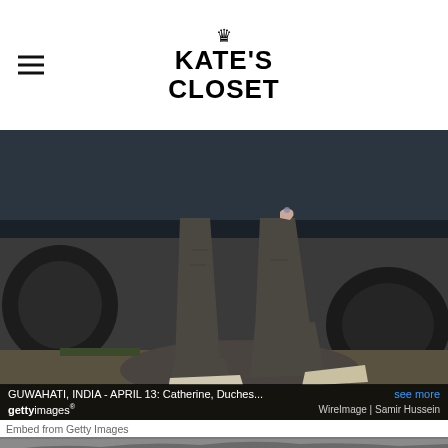KATE'S CLOSET
[Figure (photo): Close-up photo of person's legs in dark olive/grey leggings and light flats, stepping near a vehicle tire on rocky ground. Getty Images watermark overlay with caption: GUWAHATI, INDIA - APRIL 13: Catherine, Duches... | see more | WireImage | Samir Hussein]
Embed from Getty Images
[Figure (photo): Partial view of second Getty image showing rocky mountains/hills in grey tones, partially visible at bottom of page.]